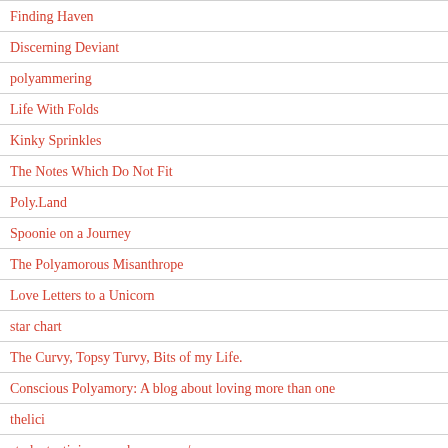Finding Haven
Discerning Deviant
polyammering
Life With Folds
Kinky Sprinkles
The Notes Which Do Not Fit
Poly.Land
Spoonie on a Journey
The Polyamorous Misanthrope
Love Letters to a Unicorn
star chart
The Curvy, Topsy Turvy, Bits of my Life.
Conscious Polyamory: A blog about loving more than one
thelici
studentactivism.wordpress.com/
Poundsake